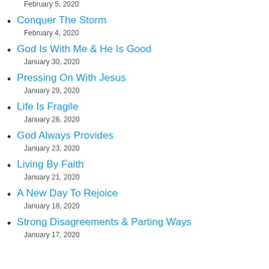February 5, 2020
Conquer The Storm
February 4, 2020
God Is With Me & He Is Good
January 30, 2020
Pressing On With Jesus
January 29, 2020
Life Is Fragile
January 26, 2020
God Always Provides
January 23, 2020
Living By Faith
January 21, 2020
A New Day To Rejoice
January 18, 2020
Strong Disagreements & Parting Ways
January 17, 2020